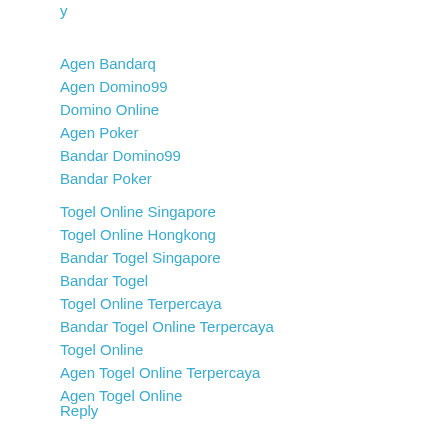y
Agen Bandarq
Agen Domino99
Domino Online
Agen Poker
Bandar Domino99
Bandar Poker
Togel Online Singapore
Togel Online Hongkong
Bandar Togel Singapore
Bandar Togel
Togel Online Terpercaya
Bandar Togel Online Terpercaya
Togel Online
Agen Togel Online Terpercaya
Agen Togel Online
Reply